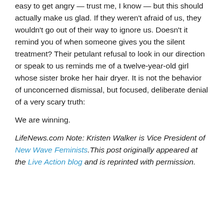easy to get angry — trust me, I know — but this should actually make us glad. If they weren't afraid of us, they wouldn't go out of their way to ignore us. Doesn't it remind you of when someone gives you the silent treatment? Their petulant refusal to look in our direction or speak to us reminds me of a twelve-year-old girl whose sister broke her hair dryer. It is not the behavior of unconcerned dismissal, but focused, deliberate denial of a very scary truth:
We are winning.
LifeNews.com Note: Kristen Walker is Vice President of New Wave Feminists.This post originally appeared at the Live Action blog and is reprinted with permission.